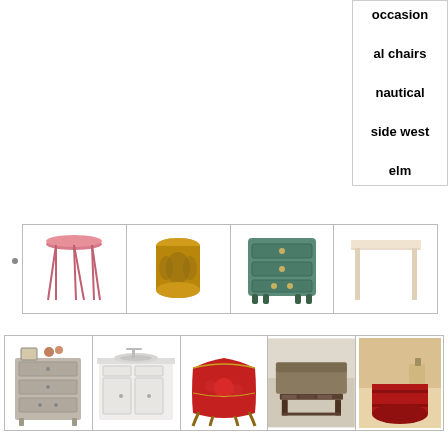occasional chairs
nautical
side west
elm
[Figure (illustration): Row of 4 furniture items: pink round side table with hairpin legs, gold ornate drum stool, teal/green painted chest of drawers, light wood simple rectangular table]
[Figure (illustration): Row of 5 furniture items: grey wood chest of drawers with decor on top, white bathroom vanity with sink, red ornate painted bombe chest, dark wood coffee table in room setting, red barrel/tub in room setting]